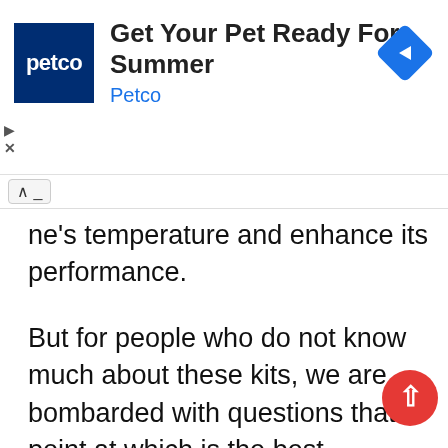[Figure (screenshot): Petco advertisement banner with blue Petco logo, title 'Get Your Pet Ready For Summer', subtitle 'Petco', blue right-arrow diamond icon, and ad control icons (play and close).]
ne's temperature and enhance its performance.
But for people who do not know much about these kits, we are bombarded with questions that point at which is the best aftermarket oil cooler kit.
Hence, once and for all answers to your queries related to the equipment, we hav put together a guide that'll help you find the